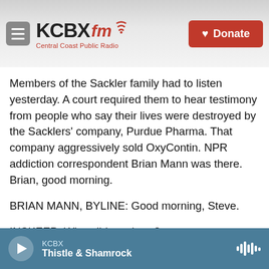[Figure (logo): KCBX FM Central Coast Public Radio logo with hamburger menu and red Donate button]
Members of the Sackler family had to listen yesterday. A court required them to hear testimony from people who say their lives were destroyed by the Sacklers' company, Purdue Pharma. That company aggressively sold OxyContin. NPR addiction correspondent Brian Mann was there. Brian, good morning.
BRIAN MANN, BYLINE: Good morning, Steve.
INSKEEP: What did you hear?
MANN: A lot of sorrow, a lot of anger. You know,
KCBX
Thistle & Shamrock